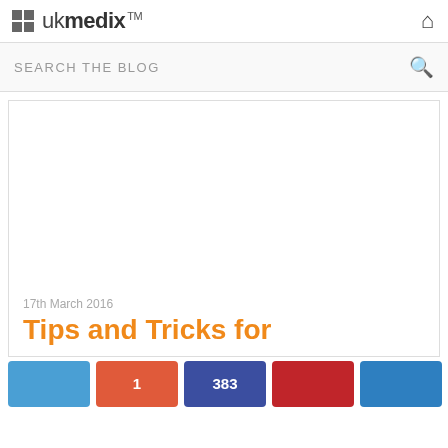ukmedix™
SEARCH THE BLOG
[Figure (other): Blank white image placeholder in article card]
17th March 2016
Tips and Tricks for
384 SHARES